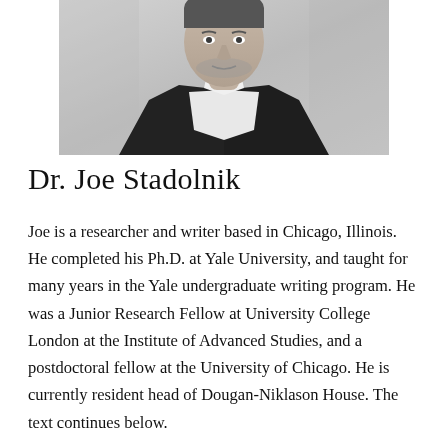[Figure (photo): Black and white portrait photo of Dr. Joe Stadolnik, a man in a dark blazer and white shirt, photographed from the chest up against a light stone wall background.]
Dr. Joe Stadolnik
Joe is a researcher and writer based in Chicago, Illinois.  He completed his Ph.D. at Yale University, and taught for many years in the Yale undergraduate writing program. He was a Junior Research Fellow at University College London at the Institute of Advanced Studies, and a postdoctoral fellow at the University of Chicago. He is currently resident head of Dougan-Niklason House. The text continues below.